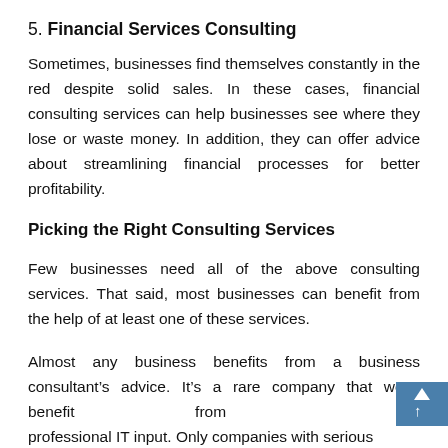5. Financial Services Consulting
Sometimes, businesses find themselves constantly in the red despite solid sales. In these cases, financial consulting services can help businesses see where they lose or waste money. In addition, they can offer advice about streamlining financial processes for better profitability.
Picking the Right Consulting Services
Few businesses need all of the above consulting services. That said, most businesses can benefit from the help of at least one of these services.
Almost any business benefits from a business consultant's advice. It’s a rare company that won’t benefit from professional IT input. Only companies with serious